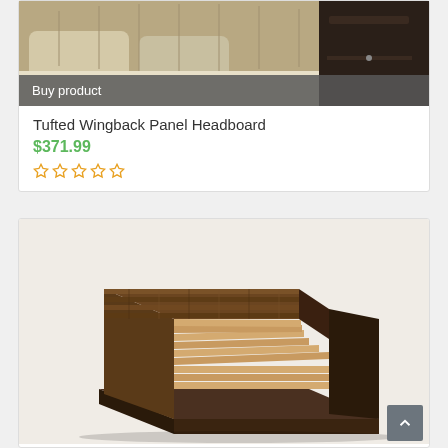[Figure (photo): Photo of a tufted wingback panel headboard with bedding, partially cropped at top]
Buy product
Tufted Wingback Panel Headboard
$371.99
[Figure (illustration): Five empty star rating symbols in orange/yellow outline]
[Figure (photo): Photo of a rustic reclaimed wood platform bed frame without mattress, shown in perspective view]